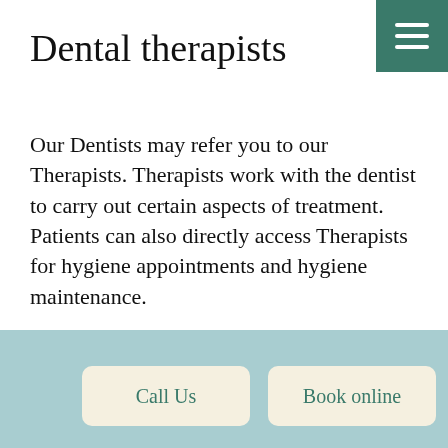Dental therapists
Our Dentists may refer you to our Therapists. Therapists work with the dentist to carry out certain aspects of treatment. Patients can also directly access Therapists for hygiene appointments and hygiene maintenance.
A dentist may refer a patient to the Therapist for fillings, treatment of periodontal diseases such as gingivitis and periodontitis and teeth whitening. If a
Call Us   Book online